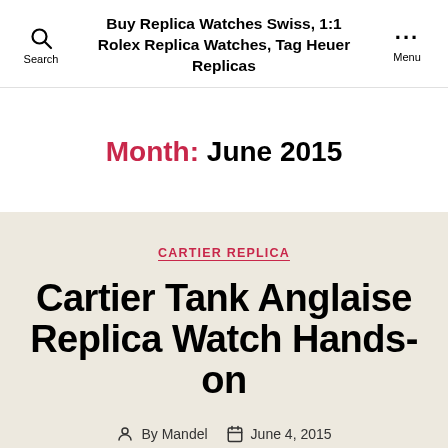Buy Replica Watches Swiss, 1:1 Rolex Replica Watches, Tag Heuer Replicas
Month: June 2015
CARTIER REPLICA
Cartier Tank Anglaise Replica Watch Hands-on
By Mandel  June 4, 2015